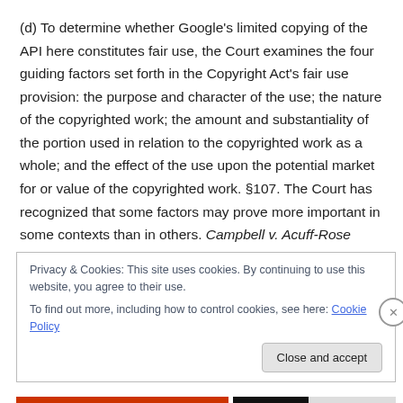(d) To determine whether Google's limited copying of the API here constitutes fair use, the Court examines the four guiding factors set forth in the Copyright Act's fair use provision: the purpose and character of the use; the nature of the copyrighted work; the amount and substantiality of the portion used in relation to the copyrighted work as a whole; and the effect of the use upon the potential market for or value of the copyrighted work. §107. The Court has recognized that some factors may prove more important in some contexts than in others. Campbell v. Acuff-Rose
Privacy & Cookies: This site uses cookies. By continuing to use this website, you agree to their use.
To find out more, including how to control cookies, see here: Cookie Policy